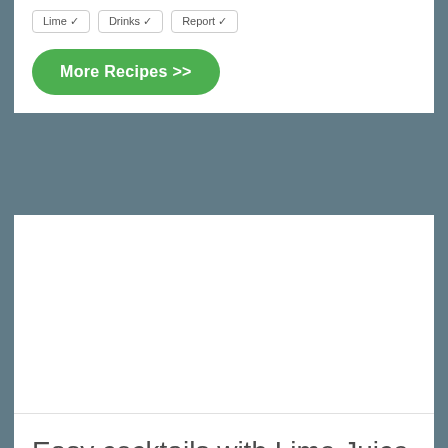Lime ✓ | Drinks ✓ | Report ✓
More Recipes >>
[Figure (other): White blank image area inside a recipe card]
Easy cocktails with Lime Juice
Hard Green Bricaki